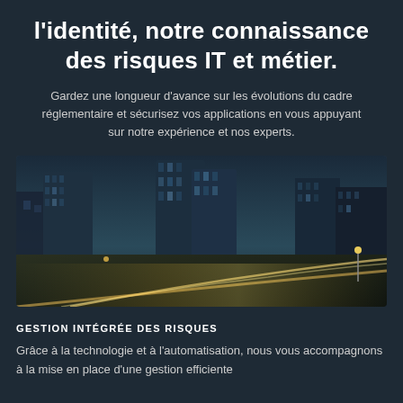l'identité, notre connaissance des risques IT et métier.
Gardez une longueur d'avance sur les évolutions du cadre réglementaire et sécurisez vos applications en vous appuyant sur notre expérience et nos experts.
[Figure (photo): Night cityscape with tall modern skyscrapers and light trails from traffic on a highway, teal-toned dramatic urban photography]
GESTION INTÉGRÉE DES RISQUES
Grâce à la technologie et à l'automatisation, nous vous accompagnons à la mise en place d'une gestion efficiente